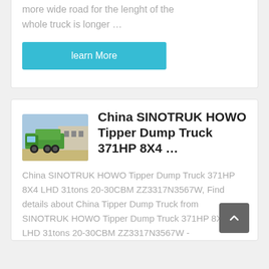more wide road for the lenght of the whole truck is longer …
learn More
[Figure (photo): Green SINOTRUK HOWO tipper dump truck parked in an outdoor area with buildings in the background.]
China SINOTRUK HOWO Tipper Dump Truck 371HP 8X4 …
China SINOTRUK HOWO Tipper Dump Truck 371HP 8X4 LHD 31tons 20-30CBM ZZ3317N3567W, Find details about China Tipper Dump Truck from SINOTRUK HOWO Tipper Dump Truck 371HP 8X4 LHD 31tons 20-30CBM ZZ3317N3567W -